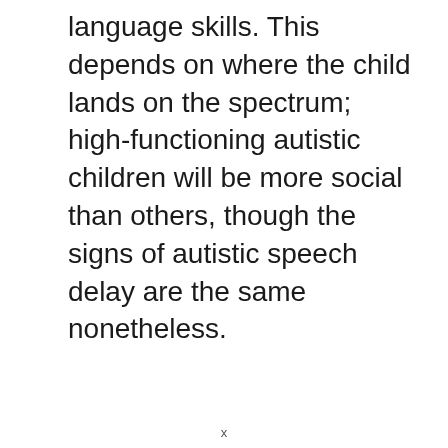language skills. This depends on where the child lands on the spectrum; high-functioning autistic children will be more social than others, though the signs of autistic speech delay are the same nonetheless.
x